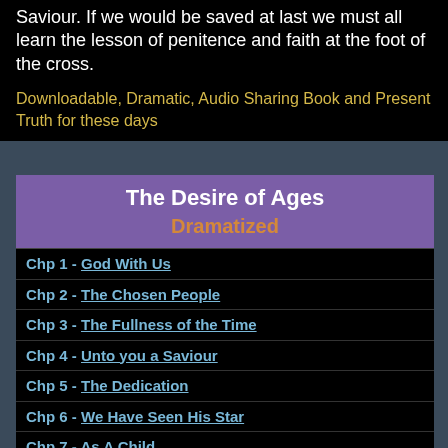Saviour. If we would be saved at last we must all learn the lesson of penitence and faith at the foot of the cross.
Downloadable, Dramatic, Audio Sharing Book and Present Truth for these days
The Desire of Ages
Dramatized
Chp 1 - God With Us
Chp 2 - The Chosen People
Chp 3 - The Fullness of the Time
Chp 4 - Unto you a Saviour
Chp 5 - The Dedication
Chp 6 - We Have Seen His Star
Chp 7 - As A Child
Chp 8 - The Passover Visit
Chp 9 - Days of Conflict
Chp 10 - The Voice in the Wilderness
Chp 11 - The Baptism
Chp 12 - The Tumptation
Chp 13 - The Victory